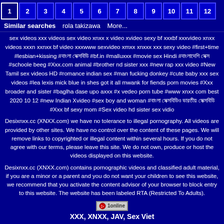1 2 3 4 5 6 7 8 9 10 11 12
Similar searches   rola takizawa   More...
sex videos xxx videos sex video xnxx x video xvideo sexy bf xxxbf xxxvideo xnxx videos xxxn xxnxx bf video xxxwww sexvideo xmxx xnxxx xxx sexy video #first+time #lesbian+kissing #বাংলা সেক্সবিডি #bf.in #malluxxx #movie sex Hindi #বাংলাদেশি সেক্স #schoole beeg #Xxx.com animal #brother nd sister xxx #new rap xxx video #New Tamil sex videos HD #romance indian sex #man fucking donkey #cute baby xxx sex videos #lea lexis mick blue in shes got it all mwank for fiends porn movies #Xxx broader and sister #baglha dase upo axxx #x vedeo porn tube #www xnxx com best 2020 10 12 #new Indian Xvideo #sex boy and woman #বাংলা সেক্সবিডিও ভারতীয় সেক্সবিডি #Xxx bf sexy mom #Sex video hd sister sex vidio
Desixnxx.cc (XNXX.com) we have no tolerance to illegal pornography. All videos are provided by other sites. We have no control over the content of these pages. We will remove links to copyrighted or illegal content within several hours. If you do not agree with our terms, please leave this site. We do not own, produce or host the videos displayed on this website.
Desixnxx.cc (XNXX.com) contains pornographic videos and classified adult material, if you are a minor or a parent and you do not want your children to see this website, we recommend that you activate the content advisor of your browser to block entry to this website. The website has been labeled RTA (Restricted To Adults).
XXX, XNXX, JAV, Sex Viet